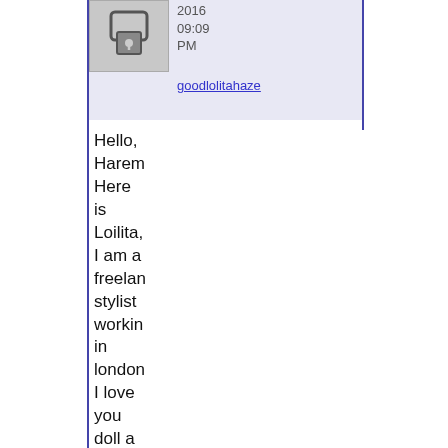[Figure (illustration): User avatar placeholder icon — grey square with a small person/lock icon]
2016
09:09
PM
goodlolitahaze
Hello, Harem Here is Loilita, I am a freelan stylist working in london I love you doll a lot. I am working on a editorial about the love dolls with Baron Magaz